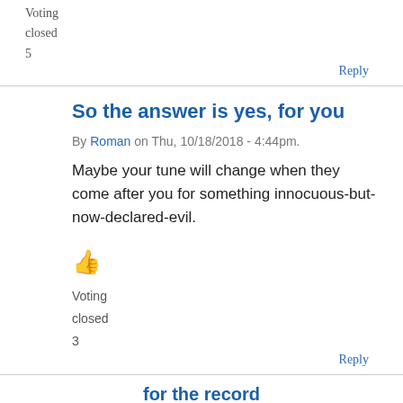Voting
closed
5
Reply
So the answer is yes, for you
By Roman on Thu, 10/18/2018 - 4:44pm.
Maybe your tune will change when they come after you for something innocuous-but-now-declared-evil.
👍
Voting
closed
3
Reply
for the record